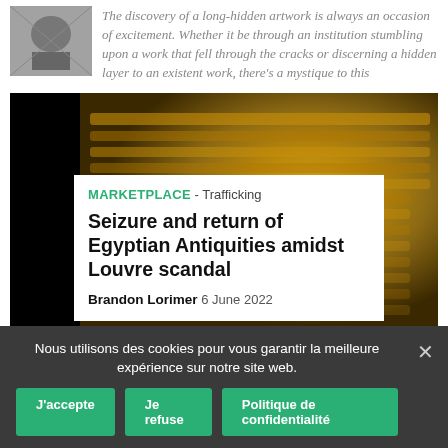[Figure (photo): Small grayscale thumbnail photo of an artwork]
The discovery of a long-hidden artwork is always an occasion of excitement. Whether it be through an institution stumbling upon a work that fell through the cracks or discerning a hidden layer to an existent work, there's a mystique to this
[Figure (photo): Photo of a golden Egyptian pharaoh mask (Tutankhamun-style) against a dark background, with a white overlay card showing article metadata]
MARKETPLACE - Trafficking
Seizure and return of Egyptian Antiquities amidst Louvre scandal
Brandon Lorimer 6 June 2022
Nous utilisons des cookies pour vous garantir la meilleure expérience sur notre site web.
J'accepte
Je refuse
Politique de confidentialité